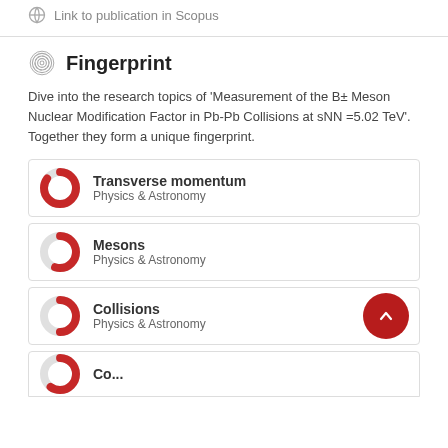Link to publication in Scopus
Fingerprint
Dive into the research topics of 'Measurement of the B± Meson Nuclear Modification Factor in Pb-Pb Collisions at sNN =5.02 TeV'. Together they form a unique fingerprint.
[Figure (infographic): Fingerprint item: Transverse momentum, Physics & Astronomy, large red donut chart (~85% fill)]
[Figure (infographic): Fingerprint item: Mesons, Physics & Astronomy, medium red donut chart (~55% fill)]
[Figure (infographic): Fingerprint item: Collisions, Physics & Astronomy, medium red donut chart (~50% fill), with scroll-up button]
[Figure (infographic): Fingerprint item partially visible at bottom (cropped)]